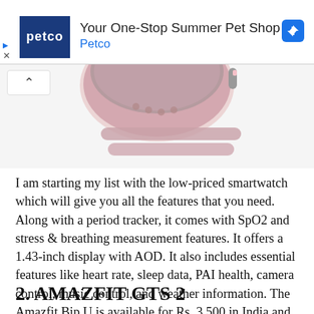[Figure (screenshot): Petco advertisement banner showing logo, 'Your One-Stop Summer Pet Shop' text, and blue diamond arrow icon]
[Figure (photo): Partial image of a pink smartwatch (Amazfit Bip U) showing the band and lower portion of the watch face on a light background]
I am starting my list with the low-priced smartwatch which will give you all the features that you need. Along with a period tracker, it comes with SpO2 and stress & breathing measurement features. It offers a 1.43-inch display with AOD. It also includes essential features like heart rate, sleep data, PAI health, camera control, music control, and weather information. The Amazfit Bip U is available for Rs. 3,500 in India and soon available in other countries. It is the cheapest smartwatch in the market that offers so many features.
2. AMAZFIT GTS 2